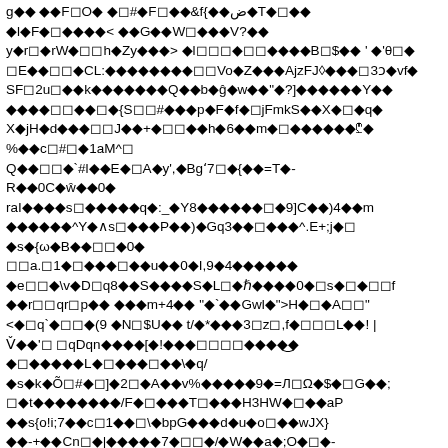g◆◆ ◆◆F◻O◆ ◆◻#◆F◻◆◆&f{◆◆ض◆T◆◻◆◆
◆l◆F◆◻◆◆◆◆< ◆◆G◆◆W◻◆◆◆V?◆◆
y◆r◻◆rW◆◻◻h◆Zy◆◆◆> ◆l◻◻◻◆◻◻◆◆◆◆B◻$◆◆ ' ◆'θ◻◆
◻E◆◆◻◻◆CL:◆◆◆◆◆◆◆◆◻◻Vo◆Z◆◆◆AjzFJ◊◆◆◆◻3ɒ◆vf◆
SF◻2u◻◆◆k◆◆◆◆◆◆◆Q◆◆b◆ĝ◆w◆◆"◆?]◆◆◆◆◆◆Y◆◆
◆◆◆◆◻◻◆◆◻◆{S◻◻#◆◆◆p◆F◆f◆◻jFmkS◆◆X◆◻◆q◆
X◆jH◆d◆◆◆◻◻J◆◆+◆◻◻◆◆h◆6◆◆m◆◻◆◆◆◆◆◆₾◆
%◆◆c◻#◻◆1aM^◻
Q◆◆◻◻◆`#l◆◆E◆◻A◆y',◆Bgʻ7◻◆{◆◆=T◆-
R◆◆0C◆ŵ◆◆0◆
raI◆◆◆◆s◻◆◆◆◆◆q◆:_◆Y8◆◆◆◆◆◆◻◆9]C◆◆)4◆◆m
◆◆◆◆◆◆^Y◆∧s◻◆◆◆P◆◆)◆Gq3◆◆◻◆◆◆^.E+;j◆◻
◆s◆{ω◆B◆◆◻◻◆0◆
◻◻a.◻1◆◻◆◆◆◻◆◆u◆◆0◆I,9◆4◆◆◆◆◆◆
◆e◻◻◆\v◆D◻q8◆◆S◆◆◆◆S◆L◻◆ℏ◆◆◆◆0◆◻s◆◻◆◻◻f
◆◆r◻◻qr◻p◆◆ ◆◆◆m+4◆◆ "◆`◆◆Gwl◆">H◆◻◆A◻◻"
<◆◻q`◆◻◻◆(9 ◆N◻$U◆◆ t/◆*◆◆◆3◻z◻,f◆◻◻◻L◆◆! |
V̌◆◆'◻ ◻qDqn◆◆◆◆[◆!◆◆◆◻◻◻◻◆◆◆◆͜◆
◆◻◆◆◆◆◆L◆◻◆◆◆◻◆◆\◆q/
◆s◆k◆Õ◻#◆◻]◆2◻◆A◆◆v%◆◆◆◆◆9◆=Л◻Ω◆$◆◻G◆◆;
◻◆t◆◆◆◆◆◆◆◆/F◆◻◆◆◆T◻◆◆◆H3HW◆◻◆◆aP
◆◆s{o!i;7◆◆c◻1◆◆◻\◆bpG◆◆◆d◆u◆o◻◆◆wЈX}
◆◆-+◆◆Cn◻◆|◆◆◆◆◆7◆◻◻◆/◆W◆◆a◆;O◆◻◆-
◆◆◆◆s◆◻◆◻◆l◆s◆◻◆◻◆◆+ ◆◆◆ ◆◆◆7